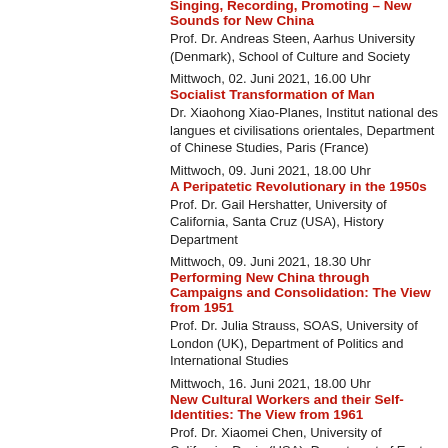Singing, Recording, Promoting – New Sounds for New China
Prof. Dr. Andreas Steen, Aarhus University (Denmark), School of Culture and Society
Mittwoch, 02. Juni 2021, 16.00 Uhr
Socialist Transformation of Man
Dr. Xiaohong Xiao-Planes, Institut national des langues et civilisations orientales, Department of Chinese Studies, Paris (France)
Mittwoch, 09. Juni 2021, 18.00 Uhr
A Peripatetic Revolutionary in the 1950s
Prof. Dr. Gail Hershatter, University of California, Santa Cruz (USA), History Department
Mittwoch, 09. Juni 2021, 18.30 Uhr
Performing New China through Campaigns and Consolidation: The View from 1951
Prof. Dr. Julia Strauss, SOAS, University of London (UK), Department of Politics and International Studies
Mittwoch, 16. Juni 2021, 18.00 Uhr
New Cultural Workers and their Self-Identities: The View from 1961
Prof. Dr. Xiaomei Chen, University of California, Davis (USA), Department of East Asian Languages and Cultures
Mittwoch, 16. Juni 2021, 18.30 Uhr
Fighting against Mao with words
Prof. Dr. Anne Kerlan, L'Ecole des Haute Etudes ein Sciences Social, Paris (France), Centre d'études sur la Chine moderne et contemporaine